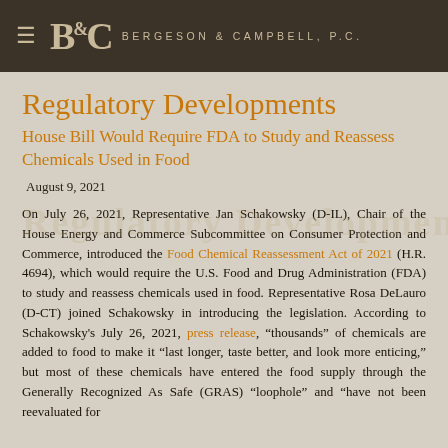BERGESON & CAMPBELL, P.C.
Regulatory Developments
House Bill Would Require FDA to Study and Reassess Chemicals Used in Food
August 9, 2021
On July 26, 2021, Representative Jan Schakowsky (D-IL), Chair of the House Energy and Commerce Subcommittee on Consumer Protection and Commerce, introduced the Food Chemical Reassessment Act of 2021 (H.R. 4694), which would require the U.S. Food and Drug Administration (FDA) to study and reassess chemicals used in food. Representative Rosa DeLauro (D-CT) joined Schakowsky in introducing the legislation. According to Schakowsky's July 26, 2021, press release, "thousands" of chemicals are added to food to make it "last longer, taste better, and look more enticing," but most of these chemicals have entered the food supply through the Generally Recognized As Safe (GRAS) "loophole" and "have not been reevaluated for